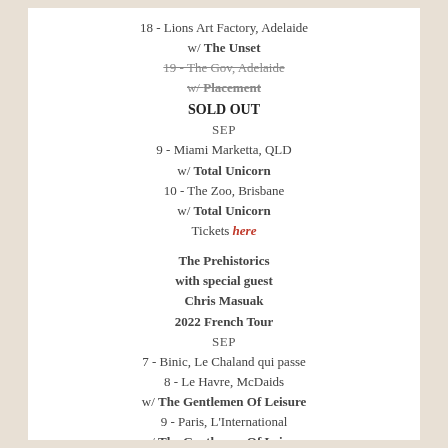18 - Lions Art Factory, Adelaide
w/ The Unset
19 - The Gov, Adelaide (strikethrough)
w/ Placement (strikethrough)
SOLD OUT
SEP
9 - Miami Marketta, QLD
w/ Total Unicorn
10 - The Zoo, Brisbane
w/ Total Unicorn
Tickets here
The Prehistorics with special guest Chris Masuak 2022 French Tour
SEP
7 - Binic, Le Chaland qui passe
8 - Le Havre, McDaids
w/ The Gentlemen Of Leisure
9 - Paris, L'International
w/ The Gentlemen Of Leisure
10 – Lille  L'Imposture
w/ The Gentlemen Of Leisure